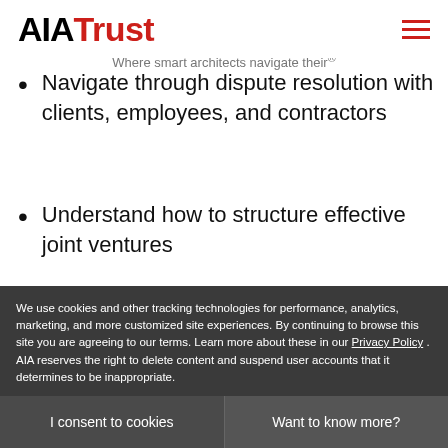AIA Trust — Where smart architects navigate their®
Navigate through dispute resolution with clients, employees, and contractors
Understand how to structure effective joint ventures
Evaluate benefits of incorporating their practice
Understand options to collect past dues or ...
We use cookies and other tracking technologies for performance, analytics, marketing, and more customized site experiences. By continuing to browse this site you are agreeing to our terms. Learn more about these in our Privacy Policy . AIA reserves the right to delete content and suspend user accounts that it determines to be inappropriate.
I consent to cookies
Want to know more?